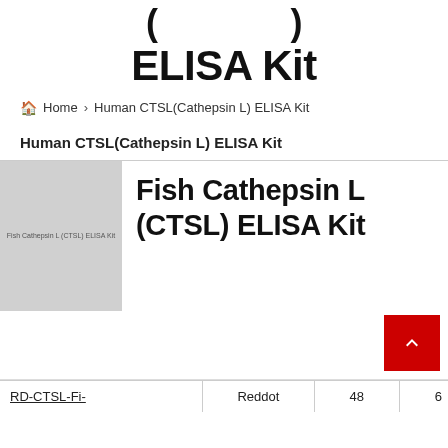( ... ) ELISA Kit
🏠 Home > Human CTSL(Cathepsin L) ELISA Kit
Human CTSL(Cathepsin L) ELISA Kit
[Figure (photo): Product image placeholder for Fish Cathepsin L (CTSL) ELISA Kit, gray box with small text label]
Fish Cathepsin L (CTSL) ELISA Kit
| Catalog No. | Brand | Qty | Price |
| --- | --- | --- | --- |
| RD-CTSL-Fi- | Reddot | 48 | 6 |